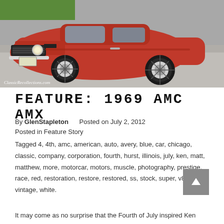[Figure (photo): Front-angle photo of a red 1969 AMC AMX classic muscle car on pavement, with green grass in background. Watermark reads ClassicRecollections.com in bottom left.]
FEATURE: 1969 AMC AMX
By GlenStapleton    Posted on July 2, 2012
Posted in Feature Story
Tagged 4, 4th, amc, american, auto, avery, blue, car, chicago, classic, company, corporation, fourth, hurst, illinois, july, ken, matt, matthew, more, motorcar, motors, muscle, photography, prestige, race, red, restoration, restore, restored, ss, stock, super, v8, vintage, white.
It may come as no surprise that the Fourth of July inspired Ken